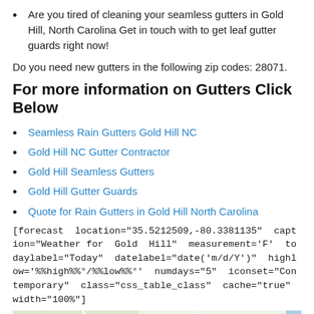Are you tired of cleaning your seamless gutters in Gold Hill, North Carolina Get in touch with to get leaf gutter guards right now!
Do you need new gutters in the following zip codes: 28071.
For more information on Gutters Click Below
Seamless Rain Gutters Gold Hill NC
Gold Hill NC Gutter Contractor
Gold Hill Seamless Gutters
Gold Hill Gutter Guards
Quote for Rain Gutters in Gold Hill North Carolina
[forecast  location="35.5212509,-80.3381135"  caption="Weather for  Gold  Hill"  measurement='F'  todaylabel="Today"  datelabel="date('m/d/Y')"  highlow='%%high%%°/%%low%%°'  numdays="5"  iconset="Contemporary"  class="css_table_class"  cache="true" width="100%"]
[Figure (map): Map showing area around Gold Hill NC including Mill Bridge and Rockwell locations]